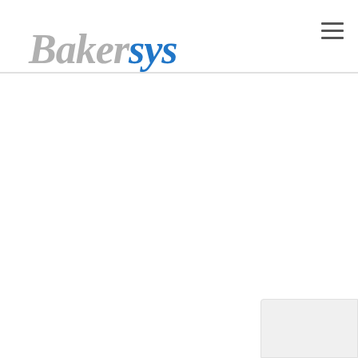[Figure (logo): Bakersys logo with 'Baker' in gray italic serif and 'sys' in blue italic serif]
[Figure (other): Hamburger menu icon with three horizontal lines in dark gray]